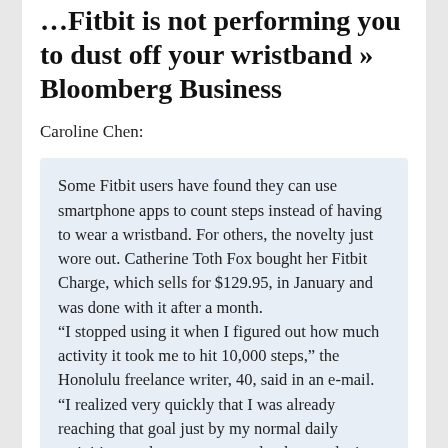Fitbit is not performing you to dust off your wristband » Bloomberg Business
Caroline Chen:
Some Fitbit users have found they can use smartphone apps to count steps instead of having to wear a wristband. For others, the novelty just wore out. Catherine Toth Fox bought her Fitbit Charge, which sells for $129.95, in January and was done with it after a month.
“I stopped using it when I figured out how much activity it took me to hit 10,000 steps,” the Honolulu freelance writer, 40, said in an e-mail. “I realized very quickly that I was already reaching that goal just by my normal daily activities, so there was no need to have a device to tell me that anymore.” She gave the Fitbit to her mother, who uses it daily. Her